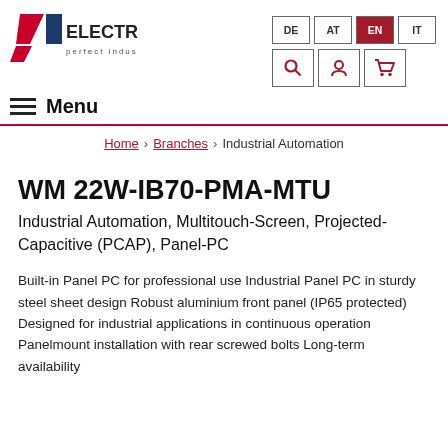[Figure (logo): IL Electronic logo with red and blue geometric shapes and text 'ELECTRONIC perfect industrial IT']
DE | AT | EN | IT language selector; search, user, cart icons; Menu
Home > Branches > Industrial Automation
WM 22W-IB70-PMA-MTU
Industrial Automation, Multitouch-Screen, Projected-Capacitive (PCAP), Panel-PC
Built-in Panel PC for professional use Industrial Panel PC in sturdy steel sheet design Robust aluminium front panel (IP65 protected) Designed for industrial applications in continuous operation Panelmount installation with rear screwed bolts Long-term availability